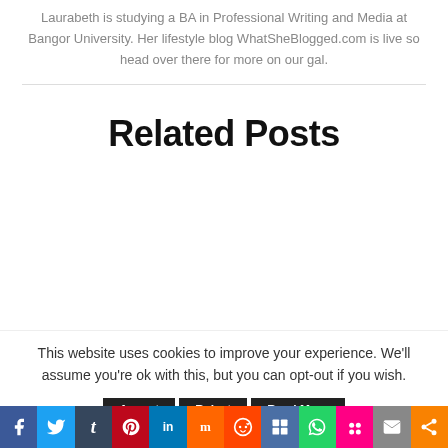Laurabeth is studying a BA in Professional Writing and Media at Bangor University. Her lifestyle blog WhatSheBlogged.com is live so head over there for more on our gal.
Related Posts
This website uses cookies to improve your experience. We'll assume you're ok with this, but you can opt-out if you wish.